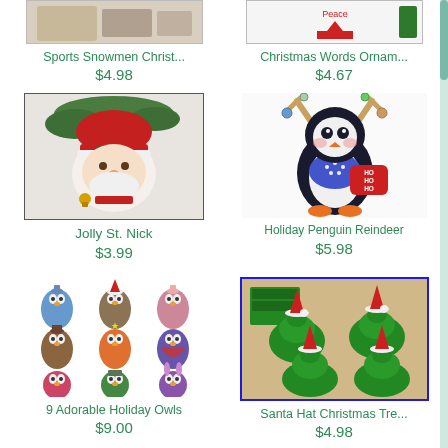[Figure (photo): Sports Snowmen Christmas craft product image (partially visible, top cropped)]
Sports Snowmen Christ...
$4.98
[Figure (photo): Christmas Words Ornament product image (partially visible, top cropped)]
Christmas Words Ornam...
$4.67
[Figure (photo): Jolly St. Nick - crocheted/knitted Santa Claus ornament]
Jolly St. Nick
$3.99
[Figure (photo): Holiday Penguin Reindeer plastic canvas craft]
Holiday Penguin Reindeer
$5.98
[Figure (photo): 9 Adorable Holiday Owls - set of colorful owl ornaments]
9 Adorable Holiday Owls
$9.00
[Figure (photo): Santa Hat Christmas Tree plastic canvas ornaments]
Santa Hat Christmas Tre...
$4.98